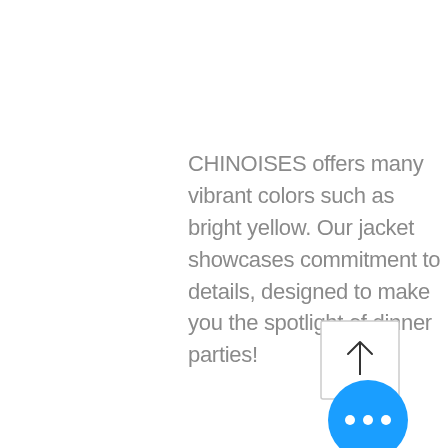CHINOISES offers many vibrant colors such as bright yellow. Our jacket showcases commitment to details, designed to make you the spotlight of dinner parties!
[Figure (other): A square button with a thin border containing an upward-pointing arrow icon]
[Figure (other): A bright blue circular button with three white dots (ellipsis) in the center]